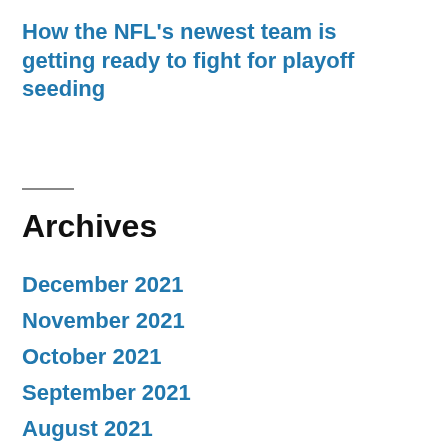How the NFL's newest team is getting ready to fight for playoff seeding
Archives
December 2021
November 2021
October 2021
September 2021
August 2021